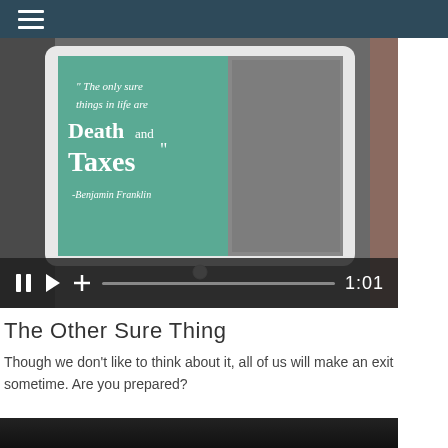Navigation menu
[Figure (screenshot): A tablet being held showing a quote on a teal/green background: " The only sure things in life are Death and Taxes" -Benjamin Franklin, with an illustration of Benjamin Franklin on the right side. Below the image are video player controls showing a pause button, play button, plus button, a progress bar, and a timestamp of 1:01.]
The Other Sure Thing
Though we don't like to think about it, all of us will make an exit sometime. Are you prepared?
[Figure (photo): Bottom partial image, dark toned photo visible at the very bottom of the page.]